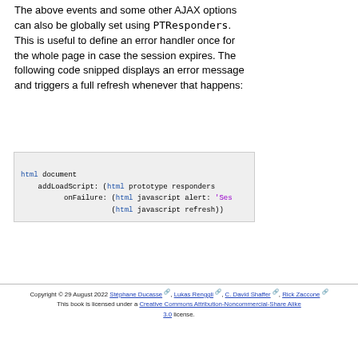The above events and some other AJAX options can also be globally set using PTResponders. This is useful to define an error handler once for the whole page in case the session expires. The following code snipped displays an error message and triggers a full refresh whenever that happens:
[Figure (other): Code block showing html document with addLoadScript and onFailure handlers using html prototype responders, javascript alert and javascript refresh]
Copyright © 29 August 2022 Stéphane Ducasse, Lukas Renggli, C. David Shaffer, Rick Zaccone. This book is licensed under a Creative Commons Attribution-Noncommercial-Share Alike 3.0 license.